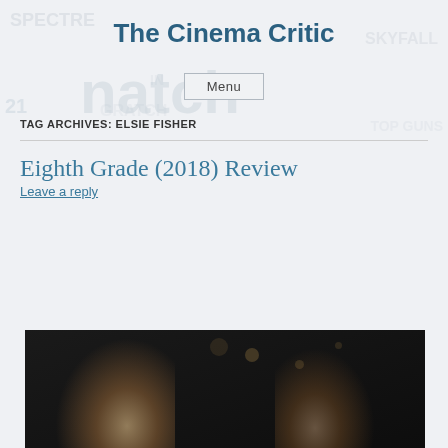The Cinema Critic
Menu
TAG ARCHIVES: ELSIE FISHER
Eighth Grade (2018) Review
Leave a reply
[Figure (photo): Dark photograph showing two young people (a young woman with blonde hair and a young man) in a low-light setting, likely a scene from the film Eighth Grade (2018).]